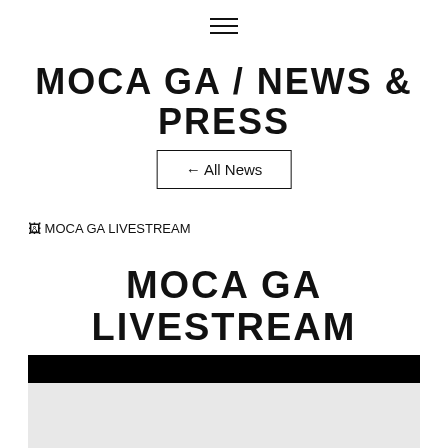☰
MOCA GA / NEWS & PRESS
← All News
[Figure (screenshot): Broken image placeholder labeled MOCA GA LIVESTREAM]
MOCA GA LIVESTREAM
[Figure (screenshot): Video player embed – black bar at top with gallery interior image below]